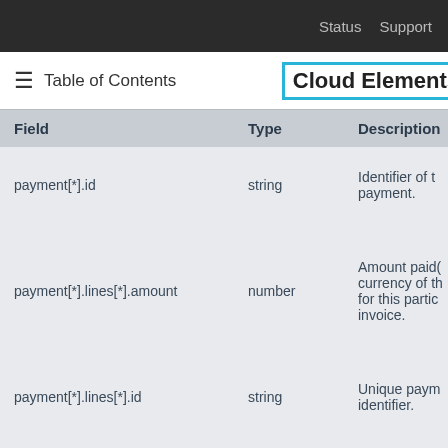Status  Support
Table of Contents  Cloud Elements
| Field | Type | Description |
| --- | --- | --- |
| payment[*].id | string | Identifier of the payment. |
| payment[*].lines[*].amount | number | Amount paid(currency of the for this particular invoice. |
| payment[*].lines[*].id | string | Unique payment identifier. |
| payment[*].currency | string | Currency of the amount |